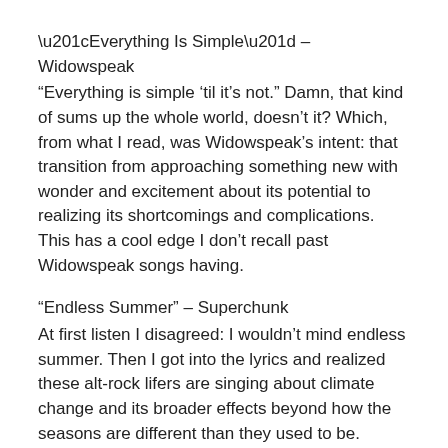“Everything Is Simple” – Widowspeak
“Everything is simple ‘til it’s not.” Damn, that kind of sums up the whole world, doesn’t it? Which, from what I read, was Widowspeak’s intent: that transition from approaching something new with wonder and excitement about its potential to realizing its shortcomings and complications. This has a cool edge I don’t recall past Widowspeak songs having.
“Endless Summer” – Superchunk
At first listen I disagreed: I wouldn’t mind endless summer. Then I got into the lyrics and realized these alt-rock lifers are singing about climate change and its broader effects beyond how the seasons are different than they used to be.
“A Wave Across A Bay” – Frank Turner
“I spoke with Scott last night.” I did not know the